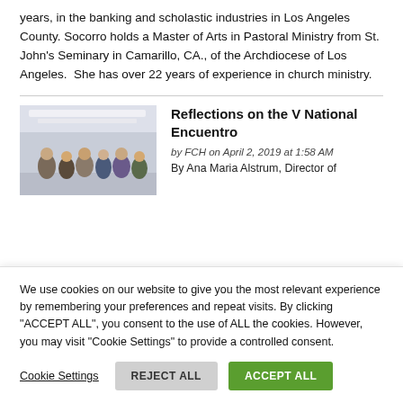years, in the banking and scholastic industries in Los Angeles County. Socorro holds a Master of Arts in Pastoral Ministry from St. John's Seminary in Camarillo, CA., of the Archdiocese of Los Angeles.  She has over 22 years of experience in church ministry.
[Figure (photo): Group photo of people in an indoor setting, likely an airport or large hall]
Reflections on the V National Encuentro
by FCH on April 2, 2019 at 1:58 AM
By Ana Maria Alstrum, Director of
We use cookies on our website to give you the most relevant experience by remembering your preferences and repeat visits. By clicking "ACCEPT ALL", you consent to the use of ALL the cookies. However, you may visit "Cookie Settings" to provide a controlled consent.
Cookie Settings   REJECT ALL   ACCEPT ALL